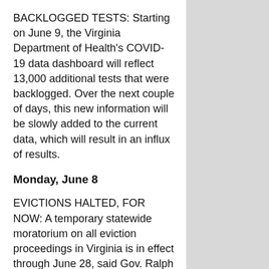BACKLOGGED TESTS: Starting on June 9, the Virginia Department of Health's COVID-19 data dashboard will reflect 13,000 additional tests that were backlogged. Over the next couple of days, this new information will be slowly added to the current data, which will result in an influx of results.
Monday, June 8
EVICTIONS HALTED, FOR NOW: A temporary statewide moratorium on all eviction proceedings in Virginia is in effect through June 28, said Gov. Ralph Northam. The temporary moratorium will halt all eviction proceedings for a period of nearly three weeks, as the Northam administration implements a comprehensive rent relief program for the thousands of Virginians facing housing insecurity in the midst of this public health crisis.
“I am grateful to the Chief Justice for granting